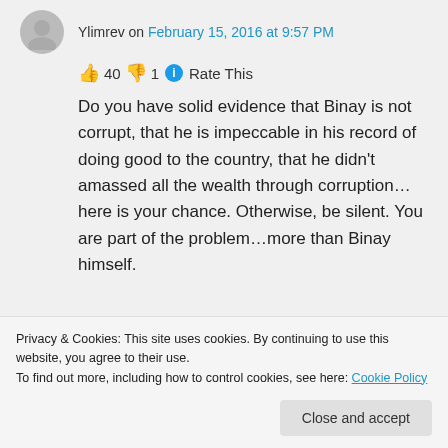Ylimrev on February 15, 2016 at 9:57 PM
👍 40 👎 1 ℹ Rate This
Do you have solid evidence that Binay is not corrupt, that he is impeccable in his record of doing good to the country, that he didn't amassed all the wealth through corruption...here is your chance. Otherwise, be silent. You are part of the problem...more than Binay himself.
Privacy & Cookies: This site uses cookies. By continuing to use this website, you agree to their use.
To find out more, including how to control cookies, see here: Cookie Policy
Close and accept